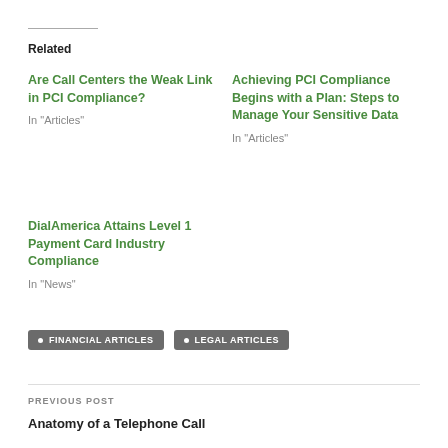Related
Are Call Centers the Weak Link in PCI Compliance?
In "Articles"
Achieving PCI Compliance Begins with a Plan: Steps to Manage Your Sensitive Data
In "Articles"
DialAmerica Attains Level 1 Payment Card Industry Compliance
In "News"
FINANCIAL ARTICLES
LEGAL ARTICLES
PREVIOUS POST
Anatomy of a Telephone Call